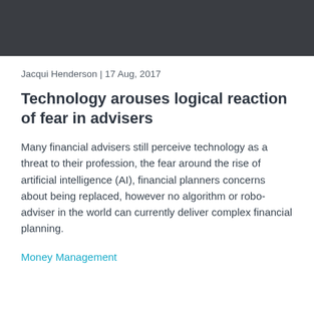[Figure (photo): Dark grey banner image at top of page]
Jacqui Henderson | 17 Aug, 2017
Technology arouses logical reaction of fear in advisers
Many financial advisers still perceive technology as a threat to their profession, the fear around the rise of artificial intelligence (AI), financial planners concerns about being replaced, however no algorithm or robo-adviser in the world can currently deliver complex financial planning.
Money Management